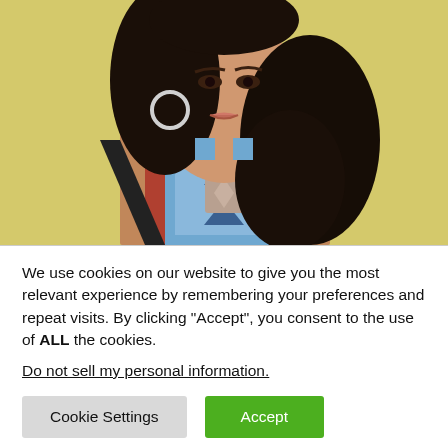[Figure (photo): Portrait photo of a young woman with dark wavy hair, wearing a patterned blue/white sleeveless top and silver hoop earrings, against a yellow/cream background.]
We use cookies on our website to give you the most relevant experience by remembering your preferences and repeat visits. By clicking “Accept”, you consent to the use of ALL the cookies.
Do not sell my personal information.
Cookie Settings
Accept